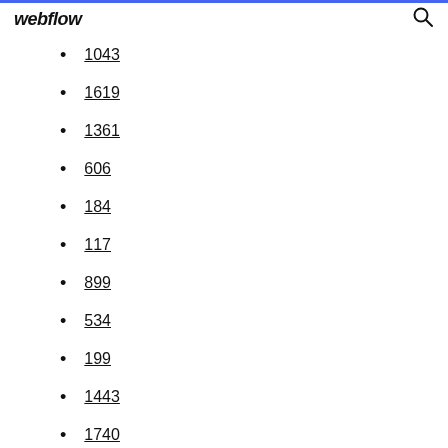webflow
1043
1619
1361
606
184
117
899
534
199
1443
1740
1422
1652